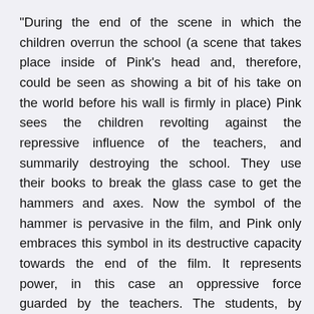"During the end of the scene in which the children overrun the school (a scene that takes place inside of Pink's head and, therefore, could be seen as showing a bit of his take on the world before his wall is firmly in place) Pink sees the children revolting against the repressive influence of the teachers, and summarily destroying the school. They use their books to break the glass case to get the hammers and axes. Now the symbol of the hammer is pervasive in the film, and Pink only embraces this symbol in its destructive capacity towards the end of the film. It represents power, in this case an oppressive force guarded by the teachers. The students, by using their books, a symbol of education, to gain access to this power have found a way early on to take control of their own lives. We see that immediately after the hammers and axes are freed from the glass cabinet, the children